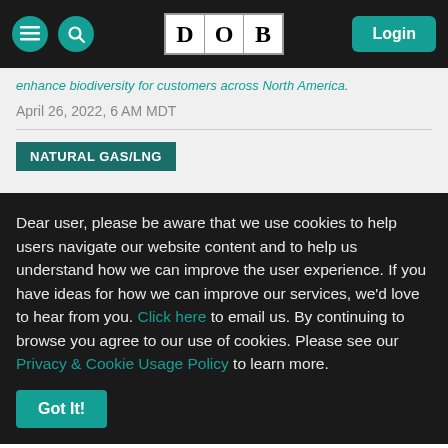DOB — Login
enhance biodiversity for customers across North America.
April 26, 2022, 6 AM MDT
NATURAL GAS/LNG
Dear user, please be aware that we use cookies to help users navigate our website content and to help us understand how we can improve the user experience. If you have ideas for how we can improve our services, we'd love to hear from you. Click here to email us. By continuing to browse you agree to our use of cookies. Please see our Privacy & Cookie Usage Policy to learn more.
Got It!